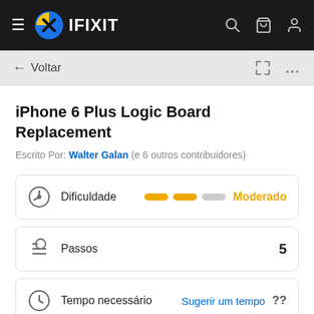IFIXIT
iPhone 6 Plus Logic Board Replacement
Escrito Por: Walter Galan (e 6 outros contribuidores)
Dificuldade — Moderado
Passos — 5
Tempo necessário — Sugerir um tempo ??